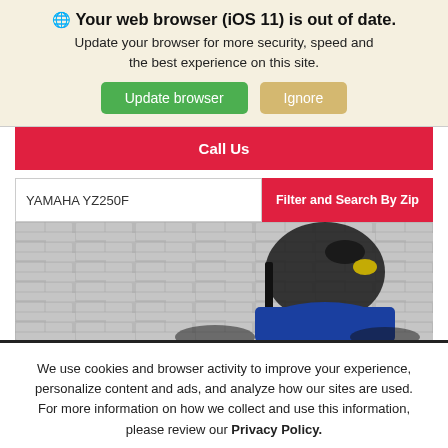Your web browser (iOS 11) is out of date. Update your browser for more security, speed and the best experience on this site.
Update browser
Ignore
Call Us
YAMAHA YZ250F
Filter and Search By Zip
[Figure (photo): Partial view of a Yamaha YZ250F motorcycle against a white brick wall background]
We use cookies and browser activity to improve your experience, personalize content and ads, and analyze how our sites are used. For more information on how we collect and use this information, please review our Privacy Policy.
I Accept >